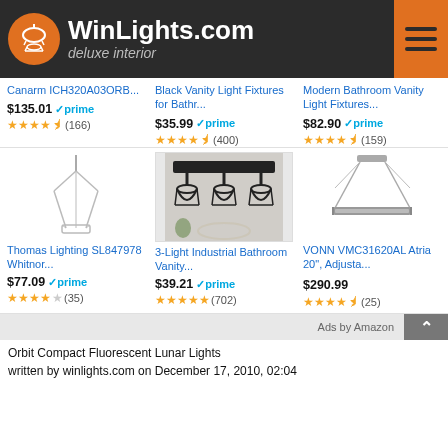[Figure (logo): WinLights.com deluxe interior logo with orange circle and lamp icon on dark background]
Canarm ICH320A03ORB...
Black Vanity Light Fixtures for Bathr...
Modern Bathroom Vanity Light Fixtures...
$135.01 prime (166)
$35.99 prime (400)
$82.90 prime (159)
[Figure (photo): Thomas Lighting SL847978 Whitmore pendant light fixture]
[Figure (photo): 3-Light Industrial Bathroom Vanity light fixture]
[Figure (photo): VONN VMC31620AL Atria 20 inch adjustable LED chandelier]
Thomas Lighting SL847978 Whitnor...
3-Light Industrial Bathroom Vanity...
VONN VMC31620AL Atria 20", Adjusta...
$77.09 prime (35)
$39.21 prime (702)
$290.99 (25)
Ads by Amazon
Orbit Compact Fluorescent Lunar Lights
written by winlights.com on December 17, 2010, 02:04